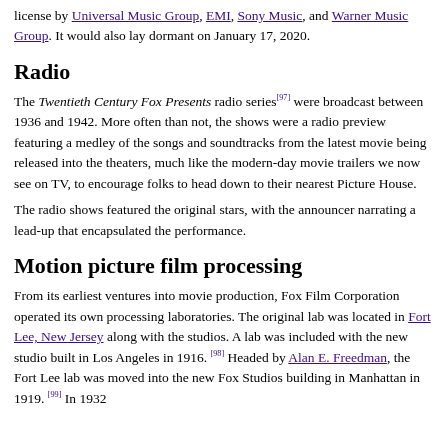license by Universal Music Group, EMI, Sony Music, and Warner Music Group. It would also lay dormant on January 17, 2020.
Radio
The Twentieth Century Fox Presents radio series[97] were broadcast between 1936 and 1942. More often than not, the shows were a radio preview featuring a medley of the songs and soundtracks from the latest movie being released into the theaters, much like the modern-day movie trailers we now see on TV, to encourage folks to head down to their nearest Picture House.
The radio shows featured the original stars, with the announcer narrating a lead-up that encapsulated the performance.
Motion picture film processing
From its earliest ventures into movie production, Fox Film Corporation operated its own processing laboratories. The original lab was located in Fort Lee, New Jersey along with the studios. A lab was included with the new studio built in Los Angeles in 1916. [98] Headed by Alan E. Freedman, the Fort Lee lab was moved into the new Fox Studios building in Manhattan in 1919.[99] In 1932